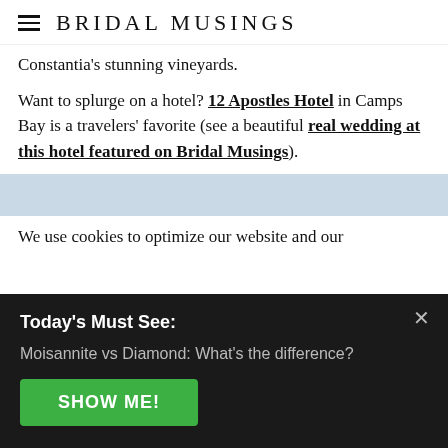BRIDAL MUSINGS
Constantia's stunning vineyards.
Want to splurge on a hotel? 12 Apostles Hotel in Camps Bay is a travelers' favorite (see a beautiful real wedding at this hotel featured on Bridal Musings).
[Figure (photo): Partial image strip visible at bottom of content area]
We use cookies to optimize our website and our
Today's Must See:
Moisannite vs Diamond: What's the difference?
SHOW ME!